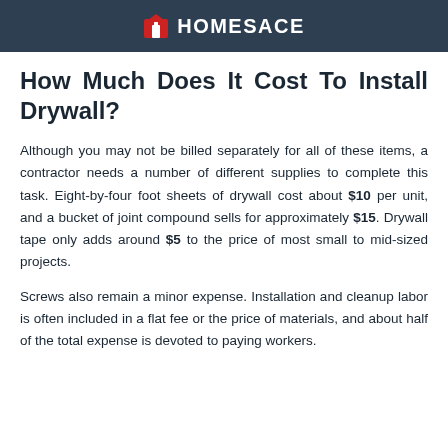HOMESACE
How Much Does It Cost To Install Drywall?
Although you may not be billed separately for all of these items, a contractor needs a number of different supplies to complete this task. Eight-by-four foot sheets of drywall cost about $10 per unit, and a bucket of joint compound sells for approximately $15. Drywall tape only adds around $5 to the price of most small to mid-sized projects.
Screws also remain a minor expense. Installation and cleanup labor is often included in a flat fee or the price of materials, and about half of the total expense is devoted to paying workers.